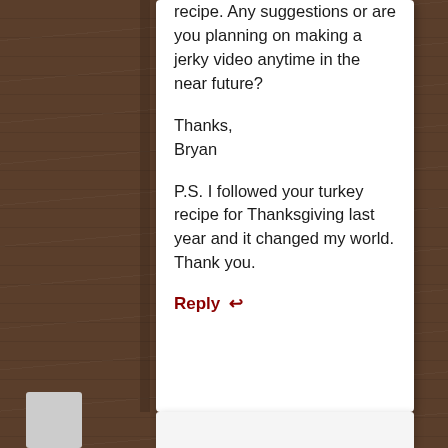recipe. Any suggestions or are you planning on making a jerky video anytime in the near future?

Thanks,
Bryan

P.S. I followed your turkey recipe for Thanksgiving last year and it changed my world. Thank you.
Reply ↩